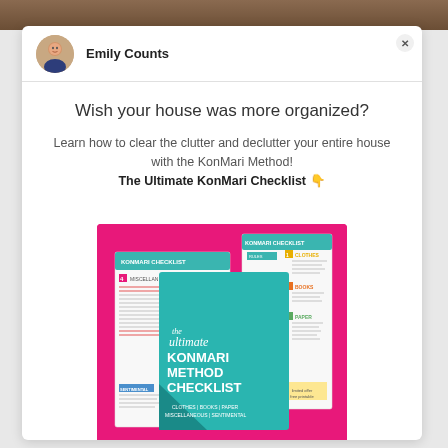[Figure (photo): Top strip of a photo (wooden/brown surface)]
Emily Counts
Wish your house was more organized?
Learn how to clear the clutter and declutter your entire house with the KonMari Method! The Ultimate KonMari Checklist 👇
[Figure (photo): The Ultimate KonMari Method Checklist book/guide promotional image on pink background, showing multiple checklist pages including clothes, books, paper, miscellaneous, and sentimental categories, with a FREE GUIDE label and the main teal booklet center.]